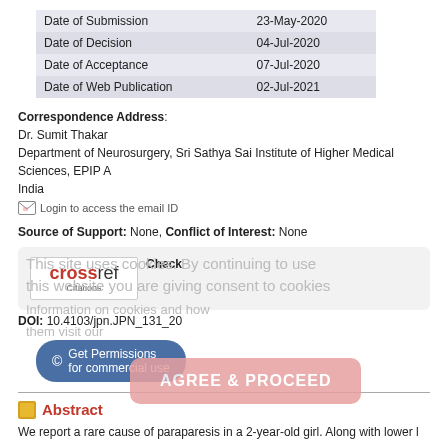|  |  |
| --- | --- |
| Date of Submission | 23-May-2020 |
| Date of Decision | 04-Jul-2020 |
| Date of Acceptance | 07-Jul-2020 |
| Date of Web Publication | 02-Jul-2021 |
Correspondence Address:
Dr. Sumit Thakar
Department of Neurosurgery, Sri Sathya Sai Institute of Higher Medical Sciences, EPIP A India
Login to access the email ID
Source of Support: None, Conflict of Interest: None
[Figure (logo): CrossRef Check Citations logo with cookie consent overlay text and AGREE & PROCEED button]
DOI: 10.4103/jpn.JPN_131_20
Get Permissions for commercial use
Abstract
We report a rare cause of paraparesis in a 2-year-old girl. Along with lower l...